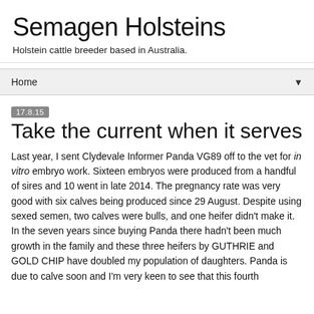Semagen Holsteins
Holstein cattle breeder based in Australia.
Home ▼
17.8.15
Take the current when it serves
Last year, I sent Clydevale Informer Panda VG89 off to the vet for in vitro embryo work. Sixteen embryos were produced from a handful of sires and 10 went in late 2014. The pregnancy rate was very good with six calves being produced since 29 August. Despite using sexed semen, two calves were bulls, and one heifer didn't make it. In the seven years since buying Panda there hadn't been much growth in the family and these three heifers by GUTHRIE and GOLD CHIP have doubled my population of daughters. Panda is due to calve soon and I'm very keen to see that this fourth